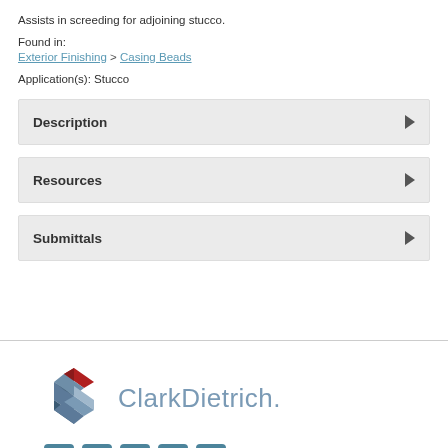Assists in screeding for adjoining stucco.
Found in:
Exterior Finishing > Casing Beads
Application(s): Stucco
Description
Resources
Submittals
[Figure (logo): ClarkDietrich logo with stylized cube icon in red and blue/grey, followed by text 'ClarkDietrich.' and social media icons for Facebook, Twitter, Instagram, LinkedIn, and YouTube]